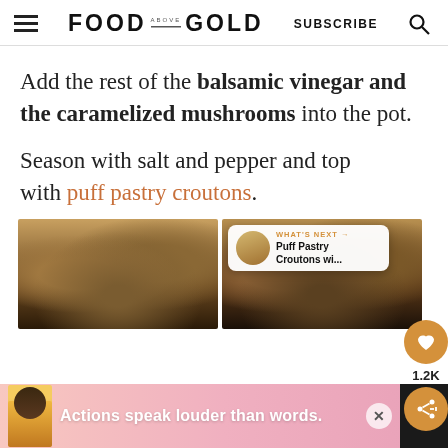FOOD ABOVE GOLD | SUBSCRIBE
Add the rest of the balsamic vinegar and the caramelized mushrooms into the pot.
Season with salt and pepper and top with puff pastry croutons.
[Figure (photo): Two side-by-side photos of soup in a pot, showing dark broth with vegetables including orange carrots and dark mushrooms, in a white/cream pot]
WHAT'S NEXT → Puff Pastry Croutons wi...
Actions speak louder than words.